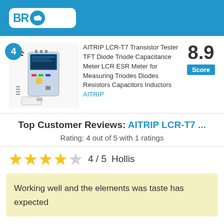BR Tips
[Figure (photo): AITRIP LCR-T7 Transistor Tester device with probes and accessories]
AITRIP LCR-T7 Transistor Tester TFT Diode Triode Capacitance Meter LCR ESR Meter for Measuring Triodes Diodes Resistors Capacitors Inductors
AITRIP
8.9 Score
Top Customer Reviews: AITRIP LCR-T7 ...
Rating: 4 out of 5 with 1 ratings
★★★★☆ 4 / 5  Hollis
Working well and the elements was taste has expected